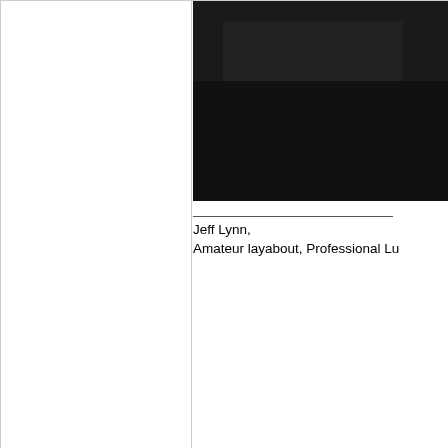[Figure (photo): Dark/black photograph partially visible at top right of page]
Jeff Lynn,
Amateur layabout, Professional Lu...
Posted: Tue Jan 23rd, 2018 08:41 am
link to this 557th post
MaxSouthOz
Admin
[Figure (photo): Profile photo of an older man smiling, wearing a red polo shirt]
I remember seeing your room when you started, just after you moved from the back room, Jeff.

Have you taken over another one?